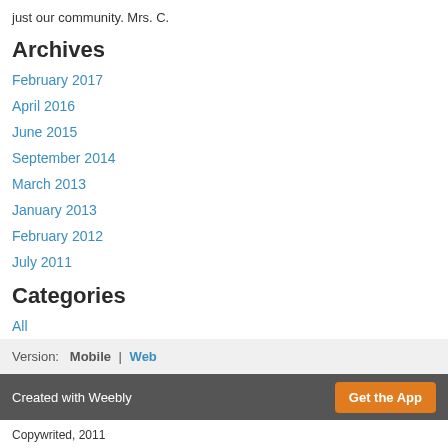just our community.  Mrs. C.
Archives
February 2017
April 2016
June 2015
September 2014
March 2013
January 2013
February 2012
July 2011
Categories
All
RSS Feed
Version:  Mobile  |  Web
Created with Weebly  Get the App
Copywrited, 2011